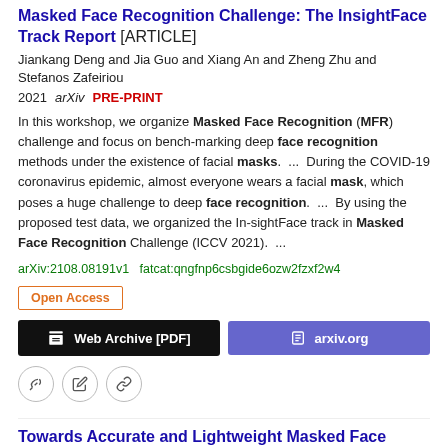Masked Face Recognition Challenge: The InsightFace Track Report [ARTICLE]
Jiankang Deng and Jia Guo and Xiang An and Zheng Zhu and Stefanos Zafeiriou
2021 arXiv  PRE-PRINT
In this workshop, we organize Masked Face Recognition (MFR) challenge and focus on bench-marking deep face recognition methods under the existence of facial masks.  ...  During the COVID-19 coronavirus epidemic, almost everyone wears a facial mask, which poses a huge challenge to deep face recognition.  ...  By using the proposed test data, we organized the In-sightFace track in Masked Face Recognition Challenge (ICCV 2021).  ...
arXiv:2108.08191v1   fatcat:qngfnp6csbgide6ozw2fzxf2w4
Open Access
Web Archive [PDF]
arxiv.org
Towards Accurate and Lightweight Masked Face Recognition: an Experimental Evaluation
Yoanna Martinez-Diaz, Heydi Mendez-Vazquez, Luis S. Luevano